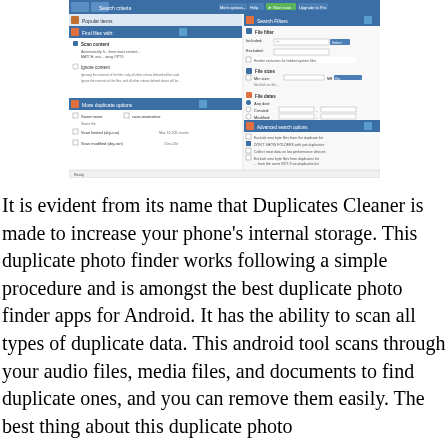[Figure (screenshot): Screenshot of Duplicates Cleaner application showing Search criteria panel with Find files with options, Scan content/Ignore content settings, More duplicate options section, Search Filters with File filter and File sizes, File dates, and Advanced search options panels.]
It is evident from its name that Duplicates Cleaner is made to increase your phone's internal storage. This duplicate photo finder works following a simple procedure and is amongst the best duplicate photo finder apps for Android. It has the ability to scan all types of duplicate data. This android tool scans through your audio files, media files, and documents to find duplicate ones, and you can remove them easily. The best thing about this duplicate photo